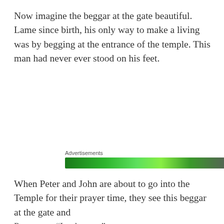Now imagine the beggar at the gate beautiful. Lame since birth, his only way to make a living was by begging at the entrance of the temple. This man had never ever stood on his feet.
[Figure (other): Advertisements bar — a horizontal green gradient banner advertisement]
When Peter and John are about to go into the Temple for their prayer time, they see this beggar at the gate and Peter says, “Look at us.”
Privacy & Cookies: This site uses cookies. By continuing to use this website, you agree to their use.
To find out more, including how to control cookies, see here:
Cookie Policy